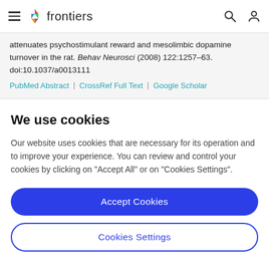frontiers
attenuates psychostimulant reward and mesolimbic dopamine turnover in the rat. Behav Neurosci (2008) 122:1257–63. doi:10.1037/a0013111
PubMed Abstract | CrossRef Full Text | Google Scholar
We use cookies
Our website uses cookies that are necessary for its operation and to improve your experience. You can review and control your cookies by clicking on "Accept All" or on "Cookies Settings".
Accept Cookies
Cookies Settings